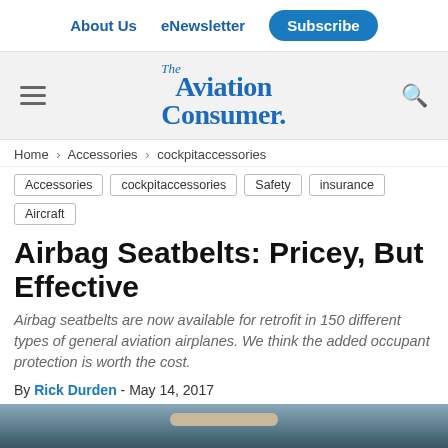About Us  eNewsletter  Subscribe
[Figure (logo): The Aviation Consumer logo in blue serif/script font]
Home › Accessories › cockpitaccessories
Accessories
cockpitaccessories
Safety
insurance
Aircraft
Airbag Seatbelts: Pricey, But Effective
Airbag seatbelts are now available for retrofit in 150 different types of general aviation airplanes. We think the added occupant protection is worth the cost.
By Rick Durden - May 14, 2017
[Figure (photo): Photo of airbag seatbelt in airplane cockpit, partially visible at bottom of page]